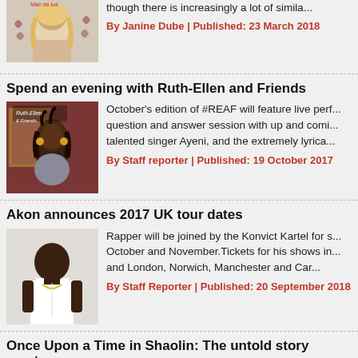[Figure (photo): Partial article image - woman with blonde hair, decorative floral elements, text 'Mae da lua']
though there is increasingly a lot of simila...
By Janine Dube | Published: 23 March 2018
Spend an evening with Ruth-Ellen and Friends
[Figure (photo): Photo of Ruth-Ellen, a Black woman with braided hair and large earrings, text 'Ruth-Ellen & Friends' on image]
October's edition of #REAF will feature live perf... question and answer session with up and comi... talented singer Ayeni, and the extremely lyrica...
By Staff reporter | Published: 19 October 2017
Akon announces 2017 UK tour dates
[Figure (photo): Photo of Akon, a Black man in a white tank top]
Rapper will be joined by the Konvict Kartel for s... October and November.Tickets for his shows in... and London, Norwich, Manchester and Car...
By Staff Reporter | Published: 20 September 2018
Once Upon a Time in Shaolin: The untold story coming...
[Figure (photo): Photo of a dark metallic box/album with Wu-Tang symbol]
Valerie Brandes and Laure Deprez of Jacarand... Upon a Time in Shaolin by Cyrus Bozogmehr, t... controversial album of the same name by the m...